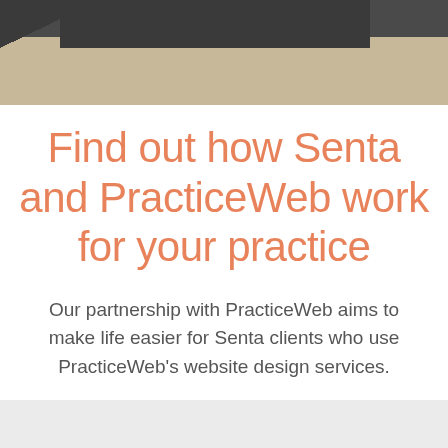[Figure (photo): Partial photo strip at top showing a dark bar with beige/sandy surface below, decorative header image]
Find out how Senta and PracticeWeb work for your practice
Our partnership with PracticeWeb aims to make life easier for Senta clients who use PracticeWeb's website design services.